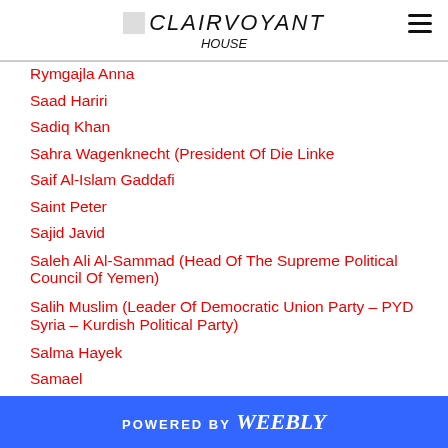CLAIRVOYANT
Rymgajla Anna
Saad Hariri
Sadiq Khan
Sahra Wagenknecht (President Of Die Linke
Saif Al-Islam Gaddafi
Saint Peter
Sajid Javid
Saleh Ali Al-Sammad (Head Of The Supreme Political Council Of Yemen)
Salih Muslim (Leader Of Democratic Union Party – PYD Syria – Kurdish Political Party)
Salma Hayek
Samael
Sam Gyimah
POWERED BY weebly